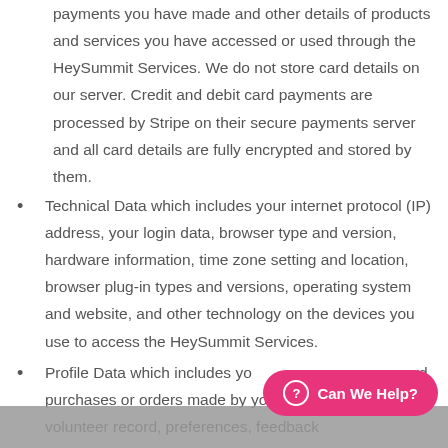payments you have made and other details of products and services you have accessed or used through the HeySummit Services. We do not store card details on our server. Credit and debit card payments are processed by Stripe on their secure payments server and all card details are fully encrypted and stored by them.
Technical Data which includes your internet protocol (IP) address, your login data, browser type and version, hardware information, time zone setting and location, browser plug-in types and versions, operating system and website, and other technology on the devices you use to access the HeySummit Services.
Profile Data which includes your username or password, purchases or orders made by you, your interests, volunteer record, preferences, feedback